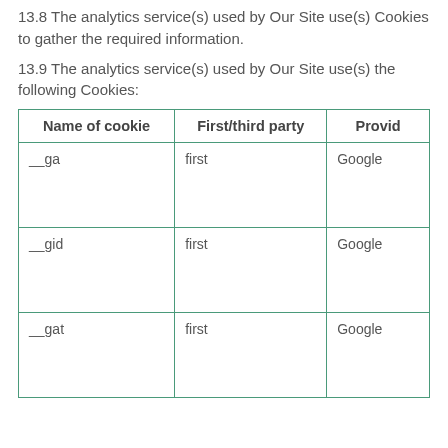13.8 The analytics service(s) used by Our Site use(s) Cookies to gather the required information.
13.9 The analytics service(s) used by Our Site use(s) the following Cookies:
| Name of cookie | First/third party | Provider |
| --- | --- | --- |
| __ga | first | Google |
| __gid | first | Google |
| __gat | first | Google |